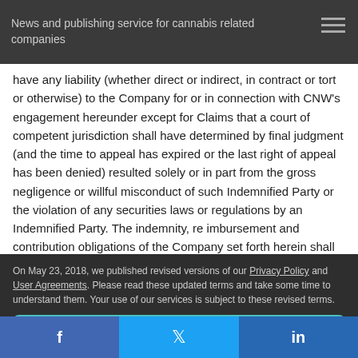News and publishing service for cannabis related companies
have any liability (whether direct or indirect, in contract or tort or otherwise) to the Company for or in connection with CNW's engagement hereunder except for Claims that a court of competent jurisdiction shall have determined by final judgment (and the time to appeal has expired or the last right of appeal has been denied) resulted solely or in part from the gross negligence or willful misconduct of such Indemnified Party or the violation of any securities laws or regulations by an Indemnified Party. The indemnity, re imbursement and contribution obligations of the Company set forth herein shall be in addition to any liability which
On May 23, 2018, we published revised versions of our Privacy Policy and User Agreements. Please read these updated terms and take some time to understand them. Your use of our services is subject to these revised terms.
Yes, I Agree.
f  Twitter  in